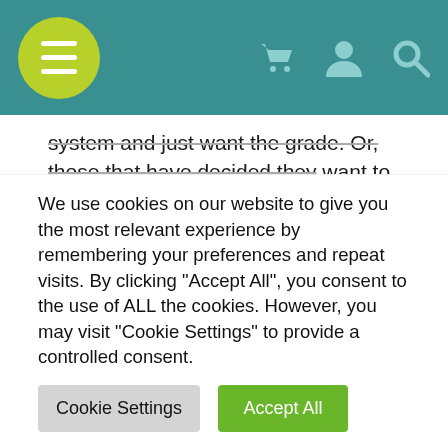Navigation bar with menu, cart, user, and search icons
system and just want the grade. Or, those that have decided they want to use their AP Exam Prep time for courses other than Calculus. I work on encouraging those learners to give this method a try and aim for a passing score. Sometimes I win a few over!
Reply
Leave a Reply
We use cookies on our website to give you the most relevant experience by remembering your preferences and repeat visits. By clicking "Accept All", you consent to the use of ALL the cookies. However, you may visit "Cookie Settings" to provide a controlled consent.